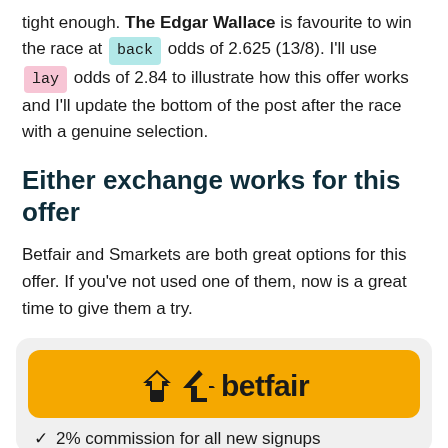tight enough. The Edgar Wallace is favourite to win the race at back odds of 2.625 (13/8). I'll use lay odds of 2.84 to illustrate how this offer works and I'll update the bottom of the post after the race with a genuine selection.
Either exchange works for this offer
Betfair and Smarkets are both great options for this offer. If you've not used one of them, now is a great time to give them a try.
[Figure (logo): Betfair logo on yellow/gold background with text '2% commission for all new signups']